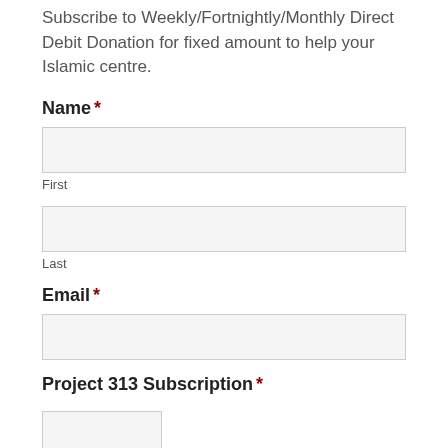Subscribe to Weekly/Fortnightly/Monthly Direct Debit Donation for fixed amount to help your Islamic centre.
Name *
First
Last
Email *
Project 313 Subscription *